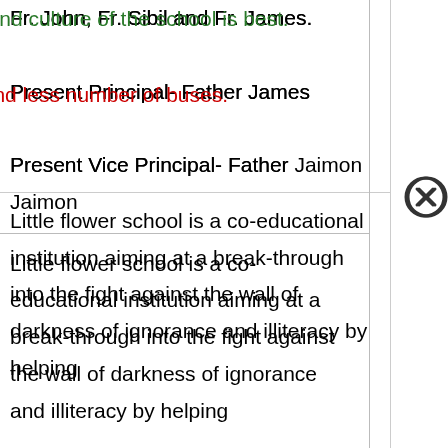Fr. John, Fr. Sibil and Fr. James.
Present Principal- Father James
Present Vice Principal- Father Jaimon
Good: Discipline and culture of the school is best.
Bad: No hostels and less number of buses.
Recommend: Yes
Little flower school is a co-educational institution aiming at a break-through into the fight against the wall of darkness of ignorance and illiteracy by helping